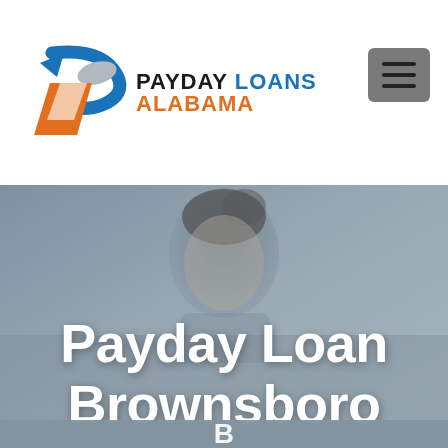[Figure (logo): Payday Loans Alabama logo with blue arrow/P graphic and text 'PAYDAY LOANS ALABAMA']
[Figure (photo): Hero banner with a man's face in the background and large white text reading 'Payday Loan Brownsboro' with partial text cut off at bottom]
Payday Loan Brownsboro